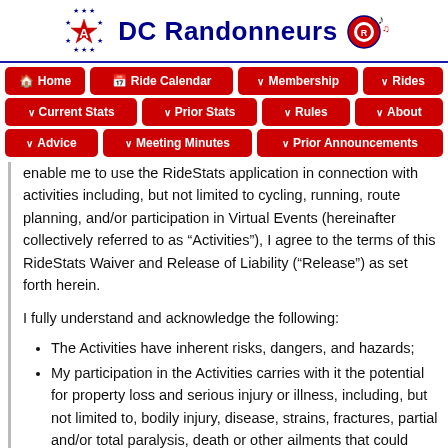DC Randonneurs
Home | Ride Calendar | Membership | Rides | Current Stats | Prior Stats | Rules | About | Advice | Meeting Minutes | Prior Announcements
enable me to use the RideStats application in connection with activities including, but not limited to cycling, running, route planning, and/or participation in Virtual Events (hereinafter collectively referred to as “Activities”), I agree to the terms of this RideStats Waiver and Release of Liability (“Release”) as set forth herein.
I fully understand and acknowledge the following:
The Activities have inherent risks, dangers, and hazards;
My participation in the Activities carries with it the potential for property loss and serious injury or illness, including, but not limited to, bodily injury, disease, strains, fractures, partial and/or total paralysis, death or other ailments that could cause serious disability.